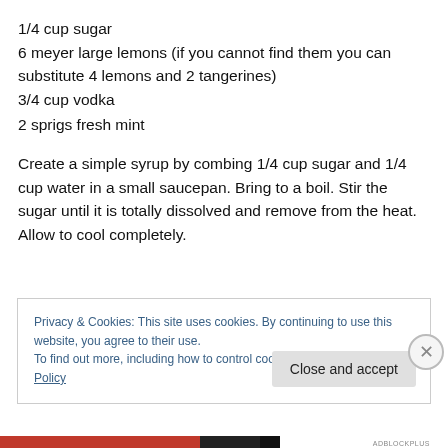1/4 cup sugar
6 meyer large lemons (if you cannot find them you can substitute 4 lemons and 2 tangerines)
3/4 cup vodka
2 sprigs fresh mint
Create a simple syrup by combing 1/4 cup sugar and 1/4 cup water in a small saucepan. Bring to a boil. Stir the sugar until it is totally dissolved and remove from the heat. Allow to cool completely.
Privacy & Cookies: This site uses cookies. By continuing to use this website, you agree to their use.
To find out more, including how to control cookies, see here: Cookie Policy
Close and accept